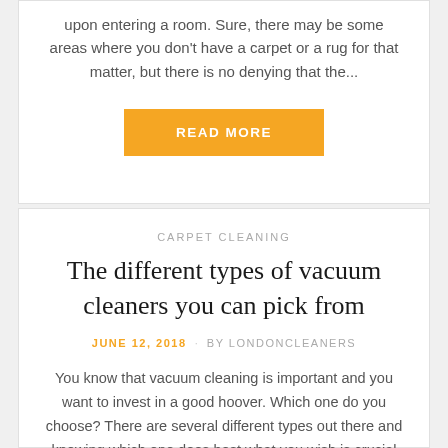upon entering a room. Sure, there may be some areas where you don't have a carpet or a rug for that matter, but there is no denying that the...
[Figure (other): Orange 'READ MORE' button]
CARPET CLEANING
The different types of vacuum cleaners you can pick from
JUNE 12, 2018 · BY LONDONCLEANERS
You know that vacuum cleaning is important and you want to invest in a good hoover. Which one do you choose? There are several different types out there and knowing which one does best what you wish is crucial for...